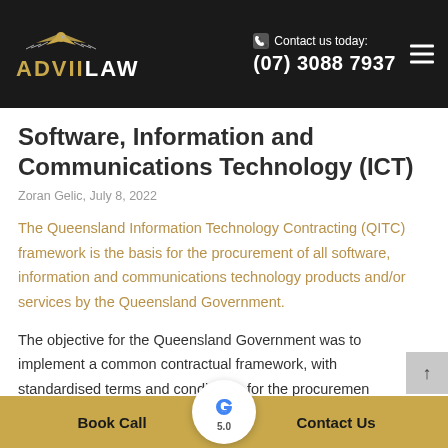ADVIILAW | Contact us today: (07) 3088 7937
Software, Information and Communications Technology (ICT)
Zoran Gelic, July 8, 2022
The Queensland Information Technology Contracting (QITC) framework is the basis for the procurement of all software, information and communications technology products and/or services by the Queensland Government.
The objective for the Queensland Government was to implement a common contractual framework, with standardised terms and conditions, for the procuremen
Book Call | 5.0 | Contact Us